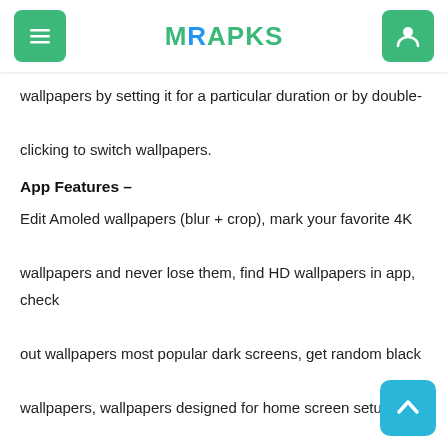MRAPKS
wallpapers by setting it for a particular duration or by double-clicking to switch wallpapers.
App Features –
Edit Amoled wallpapers (blur + crop), mark your favorite 4K wallpapers and never lose them, find HD wallpapers in app, check out wallpapers most popular dark screens, get random black wallpapers, wallpapers designed for home screen setups, notification of new amoled wallpapers
Categories –
Amoledpix has tons of categories wallpapers including Su 4k Wallpapers, Cars Wallpapers, 4K Anime Wallpapers, Boys